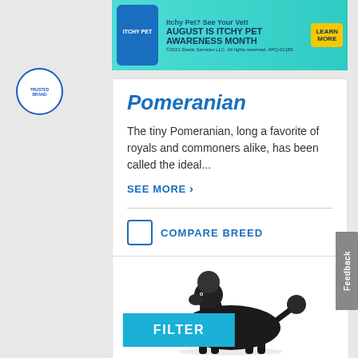[Figure (photo): Advertisement banner for Itchy Pet Awareness Month by Zoetis. Teal/cyan background with text 'Itchy Pet? See Your Vet!', 'AUGUST IS ITCHY PET AWARENESS MONTH', yellow 'LEARN MORE' button, and fine print '©2021 Zoetis Services LLC. All rights reserved. APQ-01183']
Pomeranian
The tiny Pomeranian, long a favorite of royals and commoners alike, has been called the ideal...
SEE MORE ›
COMPARE BREED
[Figure (photo): Black poodle dog in show clip pose, white background, facing left with tail up]
FILTER